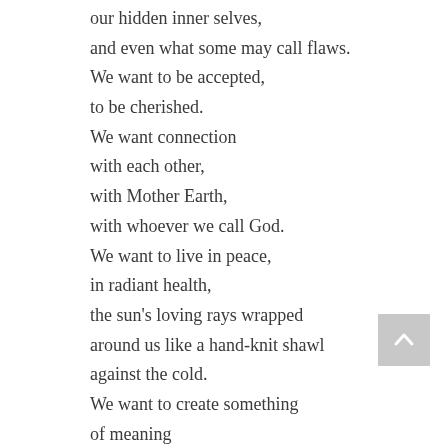our hidden inner selves,
and even what some may call flaws.
We want to be accepted,
to be cherished.
We want connection
with each other,
with Mother Earth,
with whoever we call God.
We want to live in peace,
in radiant health,
the sun's loving rays wrapped
around us like a hand-knit shawl
against the cold.
We want to create something
of meaning
from the depths of our soul.
We want to be valued,
to be loved,
to be seen.